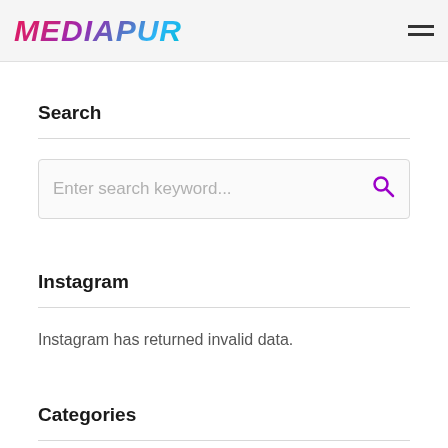MEDIAPUR
Search
Enter search keyword...
Instagram
Instagram has returned invalid data.
Categories